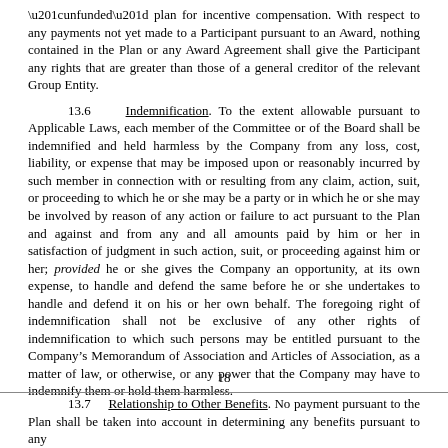“unfunded” plan for incentive compensation. With respect to any payments not yet made to a Participant pursuant to an Award, nothing contained in the Plan or any Award Agreement shall give the Participant any rights that are greater than those of a general creditor of the relevant Group Entity.
13.6 Indemnification. To the extent allowable pursuant to Applicable Laws, each member of the Committee or of the Board shall be indemnified and held harmless by the Company from any loss, cost, liability, or expense that may be imposed upon or reasonably incurred by such member in connection with or resulting from any claim, action, suit, or proceeding to which he or she may be a party or in which he or she may be involved by reason of any action or failure to act pursuant to the Plan and against and from any and all amounts paid by him or her in satisfaction of judgment in such action, suit, or proceeding against him or her; provided he or she gives the Company an opportunity, at its own expense, to handle and defend the same before he or she undertakes to handle and defend it on his or her own behalf. The foregoing right of indemnification shall not be exclusive of any other rights of indemnification to which such persons may be entitled pursuant to the Company’s Memorandum of Association and Articles of Association, as a matter of law, or otherwise, or any power that the Company may have to indemnify them or hold them harmless.
18
13.7 Relationship to Other Benefits. No payment pursuant to the Plan shall be taken into account in determining any benefits pursuant to any